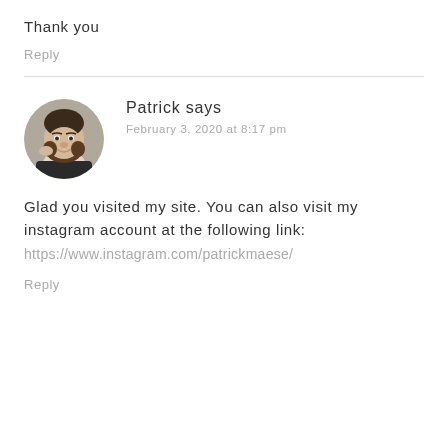Thank you
Reply
Patrick says
February 3, 2020 at 8:17 pm
[Figure (photo): Circular avatar photo of a man (Patrick) smiling, with dark hair and beard, hand near face]
Glad you visited my site. You can also visit my instagram account at the following link:
https://www.instagram.com/patrickmaese/
Reply